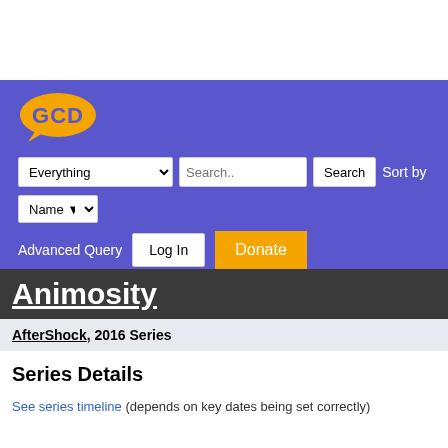[Figure (logo): GCD logo - orange speech bubble with GCD text]
Everything [dropdown] Search.. [input] Search [button] Sort by
Name [dropdown]
Advanced Query  Log In  Donate
Animosity
AfterShock, 2016 Series
Series Details
See series timeline (depends on key dates being set correctly)